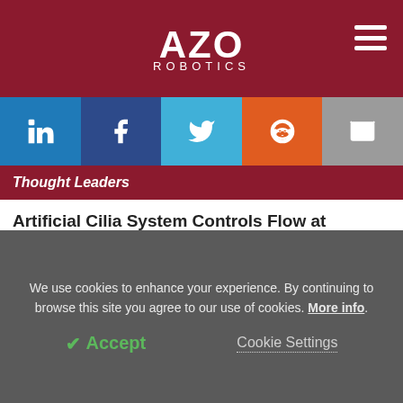AZO ROBOTICS
[Figure (infographic): Social share buttons: LinkedIn, Facebook, Twitter, Reddit, Email]
Thought Leaders
Artificial Cilia System Controls Flow at Individual Level
7 Jul 2022
Sustainable Soft Robotics Enabled By Biogel
4 Jul 2022
We use cookies to enhance your experience. By continuing to browse this site you agree to our use of cookies. More info.
Accept
Cookie Settings